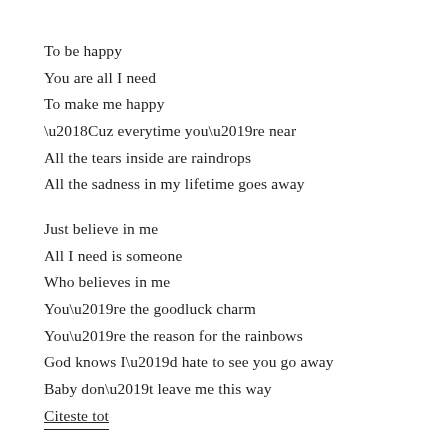To be happy
You are all I need
To make me happy
‘Cuz everytime you’re near
All the tears inside are raindrops
All the sadness in my lifetime goes away
Just believe in me
All I need is someone
Who believes in me
You’re the goodluck charm
You’re the reason for the rainbows
God knows I’d hate to see you go away
Baby don’t leave me this way
Citeste tot